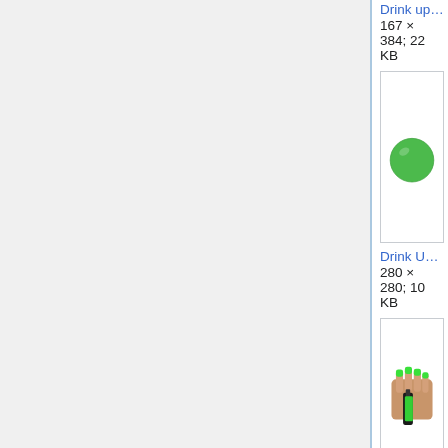Drink up Witches bottl…
167 × 384; 22 KB
[Figure (illustration): Green circle / droplet shape on white background]
Drink Up Witches drop…
280 × 280; 10 KB
[Figure (photo): Hand holding a green nail polish bottle with bright green nails]
Drink up witches.jpg
1,024 × 899; 214 KB